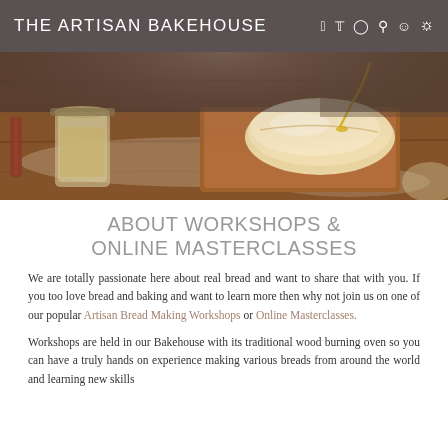THE ARTISAN BAKEHOUSE
[Figure (photo): Overhead photo of hands pouring oil over a bread dough on a floured wooden board, with a jar of starter in the foreground]
ABOUT WORKSHOPS & ONLINE MASTERCLASSES
We are totally passionate here about real bread and want to share that with you. If you too love bread and baking and want to learn more then why not join us on one of our popular Artisan Bread Making Workshops or Online Masterclasses.
Workshops are held in our Bakehouse with its traditional wood burning oven so you can have a truly hands on experience making various breads from around the world and learning new skills